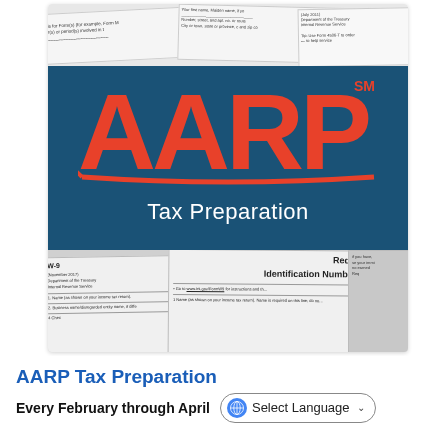[Figure (photo): AARP Tax Preparation promotional image showing the AARP logo in red on a dark teal/blue background with the text 'Tax Preparation' in white below, overlaid on scattered IRS tax forms including a W-9 form visible at the bottom]
AARP Tax Preparation
Every February through April
Select Language